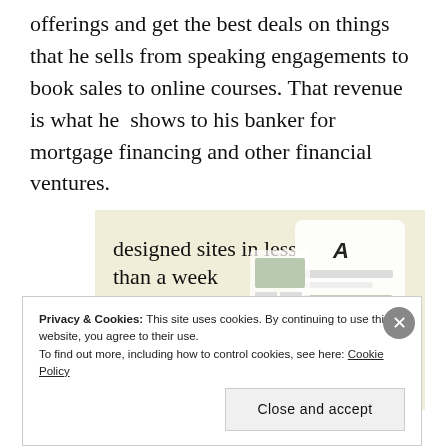offerings and get the best deals on things that he sells from speaking engagements to book sales to online courses. That revenue is what he  shows to his banker for mortgage financing and other financial ventures.
[Figure (screenshot): Advertisement for a website builder showing 'designed sites in less than a week' with an 'Explore options' button and a mockup of website screens]
Privacy & Cookies: This site uses cookies. By continuing to use this website, you agree to their use.
To find out more, including how to control cookies, see here: Cookie Policy
Close and accept